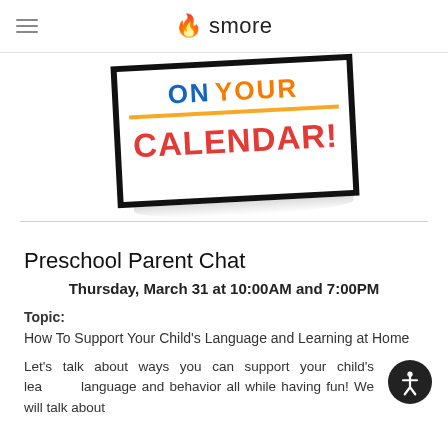smore
[Figure (illustration): A tilted sign/banner graphic with text 'ON YOUR CALENDAR!' in bold colorful letters (blue, orange, red) with a black border frame and shadow underneath]
Preschool Parent Chat
Thursday, March 31 at 10:00AM and 7:00PM
Topic:
How To Support Your Child's Language and Learning at Home
Let's talk about ways you can support your child's learning, language and behavior all while having fun! We will talk about